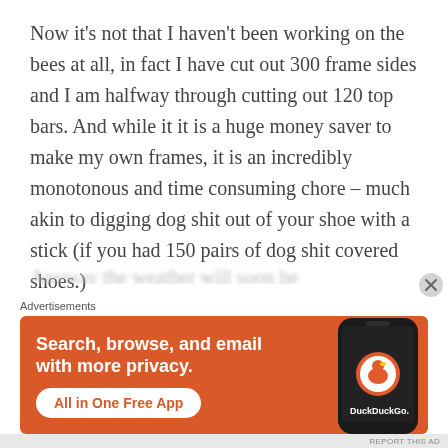Now it's not that I haven't been working on the bees at all, in fact I have cut out 300 frame sides and I am halfway through cutting out 120 top bars. And while it it is a huge money saver to make my own frames, it is an incredibly monotonous and time consuming chore – much akin to digging dog shit out of your shoe with a stick (if you had 150 pairs of dog shit covered shoes.)
[Figure (other): DuckDuckGo advertisement banner with orange background showing 'Search, browse, and email with more privacy. All in One Free App' with a phone image and DuckDuckGo logo]